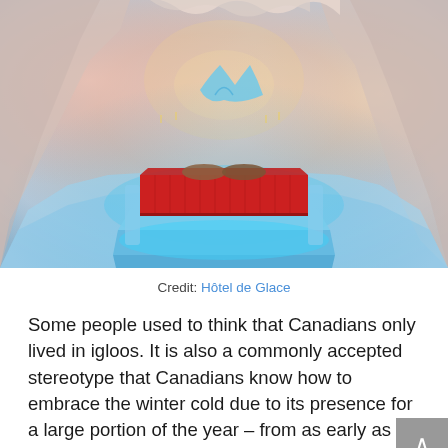[Figure (photo): Interior of an ice hotel room (Hôtel de Glace) showing a red-covered bed on a glowing blue ice platform, surrounded by sculpted ice walls with warm pink and blue lighting.]
Credit: Hôtel de Glace
Some people used to think that Canadians only lived in igloos. It is also a commonly accepted stereotype that Canadians know how to embrace the winter cold due to its presence for a large portion of the year – from as early as September to April (depending upon